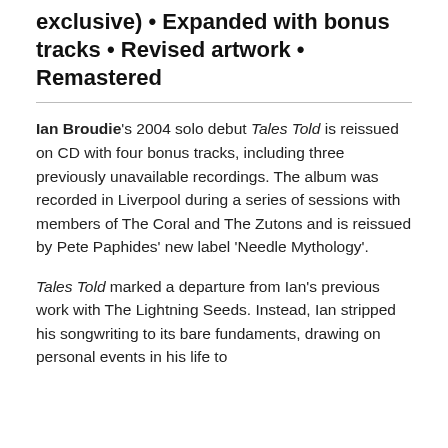exclusive) • Expanded with bonus tracks • Revised artwork • Remastered
Ian Broudie's 2004 solo debut Tales Told is reissued on CD with four bonus tracks, including three previously unavailable recordings. The album was recorded in Liverpool during a series of sessions with members of The Coral and The Zutons and is reissued by Pete Paphides' new label 'Needle Mythology'.
Tales Told marked a departure from Ian's previous work with The Lightning Seeds. Instead, Ian stripped his songwriting to its bare fundaments, drawing on personal events in his life to